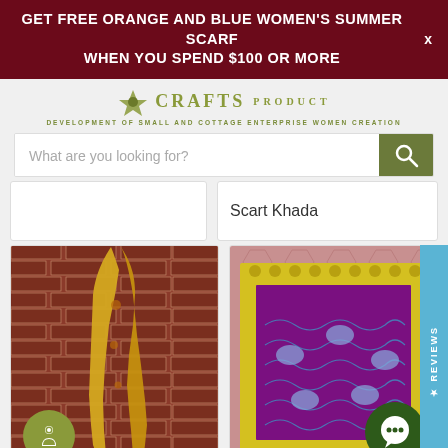GET FREE ORANGE AND BLUE WOMEN'S SUMMER SCARF WHEN YOU SPEND $100 OR MORE
[Figure (logo): Crafts Product logo with leaf icon and text 'CRAFTS PRODUCT - DEVELOPMENT OF SMALL AND COTTAGE ENTERPRISE WOMEN CREATION']
What are you looking for?
Scart Khada
[Figure (photo): Golden/yellow silk scarf with Buddhist designs hanging on a red brick wall with orange tassels at bottom. Small olive-colored circle with person icon in lower left corner.]
[Figure (photo): Purple textile/altar cloth with yellow border featuring floral patterns and Buddhist motifs. Green chat circle icon in lower right corner. Blue 'REVIEWS' tab on right side.]